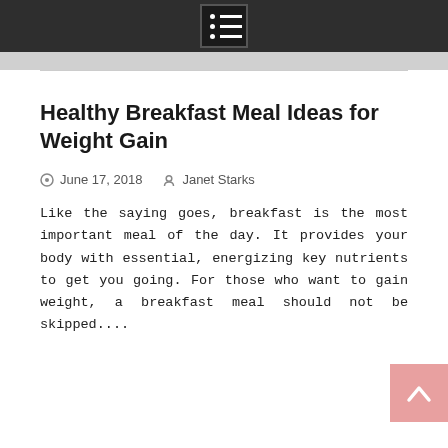[menu icon]
Healthy Breakfast Meal Ideas for Weight Gain
June 17, 2018   Janet Starks
Like the saying goes, breakfast is the most important meal of the day. It provides your body with essential, energizing key nutrients to get you going. For those who want to gain weight, a breakfast meal should not be skipped....